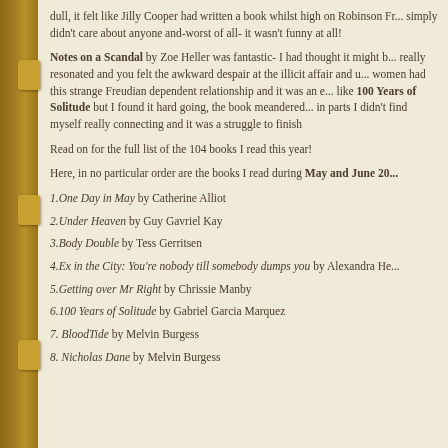dull, it felt like Jilly Cooper had written a book whilst high on Robinson Fr... simply didn't care about anyone and-worst of all- it wasn't funny at all!
Notes on a Scandal by Zoe Heller was fantastic- I had thought it might b... really resonated and you felt the awkward despair at the illicit affair and u... women had this strange Freudian dependent relationship and it was an e... like 100 Years of Solitude but I found it hard going, the book meandered... in parts I didn't find myself really connecting and it was a struggle to finish
Read on for the full list of the 104 books I read this year!
Here, in no particular order are the books I read during May and June 20...
1.One Day in May by Catherine Alliot
2.Under Heaven by Guy Gavriel Kay
3.Body Double by Tess Gerritsen
4.Ex in the City: You're nobody till somebody dumps you by Alexandra He...
5.Getting over Mr Right by Chrissie Manby
6.100 Years of Solitude by Gabriel Garcia Marquez
7. BloodTide by Melvin Burgess
8. Nicholas Dane by Melvin Burgess